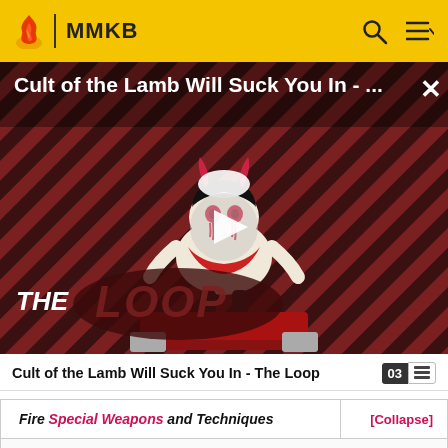MMKB
[Figure (screenshot): Video thumbnail for 'Cult of the Lamb Will Suck You In - The Loop' showing a game character on a red striped background with THE LOOP text overlay and a play button]
Cult of the Lamb Will Suck You In - The Loop
| Fire Special Weapons and Techniques | [Collapse] |
| Special Weapons |  |